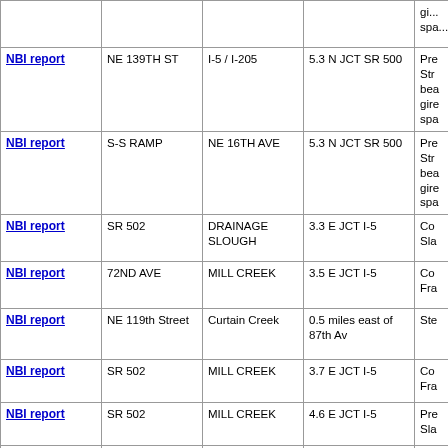|  | Col2 | Col3 | Col4 | Col5 |
| --- | --- | --- | --- | --- |
|  |  |  |  | gi...
spa... |
| NBI report | NE 139TH ST | I-5 / I-205 | 5.3 N JCT SR 500 | Pre
Str
bea
gire
spa |
| NBI report | S-S RAMP | NE 16TH AVE | 5.3 N JCT SR 500 | Pre
Str
bea
gire
spa |
| NBI report | SR 502 | DRAINAGE SLOUGH | 3.3 E JCT I-5 | Co
Sla |
| NBI report | 72ND AVE | MILL CREEK | 3.5 E JCT I-5 | Co
Fra |
| NBI report | NE 119th Street | Curtain Creek | 0.5 miles east of 87th Av | Ste |
| NBI report | SR 502 | MILL CREEK | 3.7 E JCT I-5 | Co
Fra |
| NBI report | SR 502 | MILL CREEK | 4.6 E JCT I-5 | Pre
Sla |
| NBI report | I-205 E-S RAMP | I-205 OFF RAMP | 2.1 N SR 14 | Ste
Str
bea
gire
spa |
| NBI report | NE 98th Street | FIFTH PLAIN | 0.5 MLE. OF NE |  |